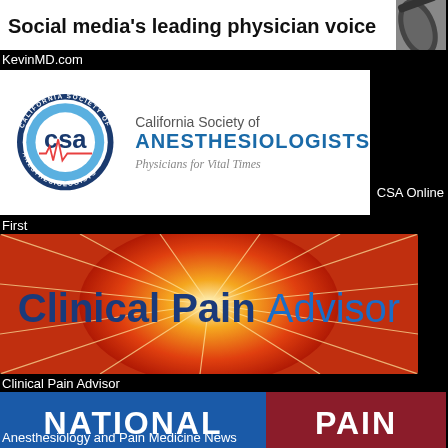[Figure (illustration): KevinMD banner: 'Social media's leading physician voice' with phone graphic]
KevinMD.com
[Figure (logo): California Society of Anesthesiologists logo with CSA emblem and tagline 'Physicians for Vital Times']
CSA Online
First
[Figure (logo): Clinical Pain Advisor logo on red/orange lightning background]
Clinical Pain Advisor
[Figure (logo): National Pain Report logo with blue and dark red blocks and REPORT text]
Anesthesiology and Pain Medicine News